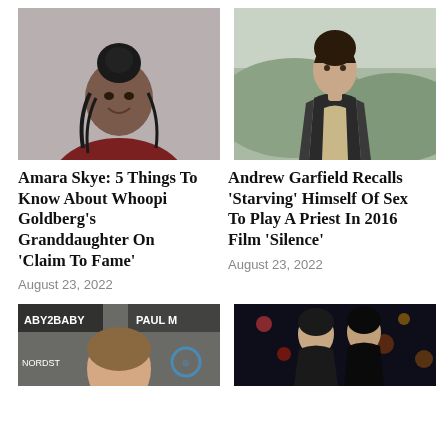[Figure (photo): Portrait of Amara Skye, a young Black woman with curly hair in a bun, wearing a dark red top, smiling, against a gray background]
[Figure (photo): Andrew Garfield in a misty, mountainous landscape wearing a dark cloak, from the 2016 film Silence]
Amara Skye: 5 Things To Know About Whoopi Goldberg's Granddaughter On 'Claim To Fame'
August 23, 2022
Andrew Garfield Recalls 'Starving' Himself Of Sex To Play A Priest In 2016 Film 'Silence'
August 23, 2022
[Figure (photo): Woman at a Baby2Baby event with PAUL M and Nordstrom branding, Volvo logo visible]
[Figure (photo): Two people in dark lighting, romantic or dramatic scene]